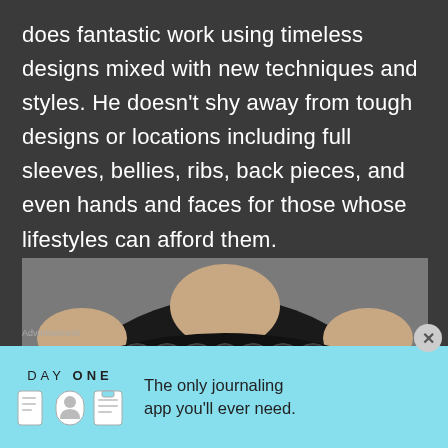does fantastic work using timeless designs mixed with new techniques and styles. He doesn't shy away from tough designs or locations including full sleeves, bellies, ribs, back pieces, and even hands and faces for those whose lifestyles can afford them.
[Figure (photo): Back view of a person with extensive black tattoos covering their back and shoulders, showing intricate scale-like patterns across the upper back and collar area, with detailed designs on the lower back.]
Advertisement
[Figure (other): Advertisement banner for DAY ONE journaling app on a light blue background. Shows the DAY ONE logo text with three app icons (journal book, person, notepad) and the tagline 'The only journaling app you'll ever need.']